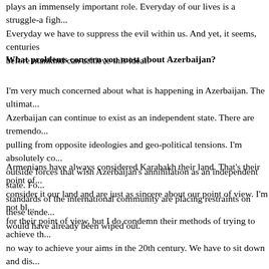plays an immensely important role. Everyday of our lives is a struggle-a figh... Everyday we have to suppress the evil within us. And yet, it seems, centuries before mankind can achieve this ideal.
What problems concern you most about Azerbaijan?
I'm very much concerned about what is happening in Azerbaijan. The ultimat... Azerbaijan can continue to exist as an independent state. There are tremendo... pulling from opposite ideologies and geo-political tensions. I'm absolutely co... outside forces that wish Azerbaijan's annihilation as an independent state. Fo... standards of the international community are placing restraints on these tende... would have already been wiped out.
Armenians have always considered Karabakh their land. That's their point of... consider it our land and are just as sincere about our point of view. I'm not bl... for their point of view, but I do condemn their methods of trying to achieve th... no way to achieve your aims in the 20th century. We have to sit down and dis... and come to some solution. Any attempt to aggressively acquire land is a cri... communities.
Remember, it was a single shot in Sarajevo that led to World War I. We still c... consequences or resolution of the Karabakh conflict will be. I know that Arm... have supplies and resources sufficient only to last for a single month. I can't s... concretely helping Armenia but I know that Armenians are much better know... we are. Therefore, they get more assistance. Their influence is greater. That is... interview with such great pleasure since I believe that your magazine is one o... sources of information about what is happening in Azerbaijan and that this is... missions.